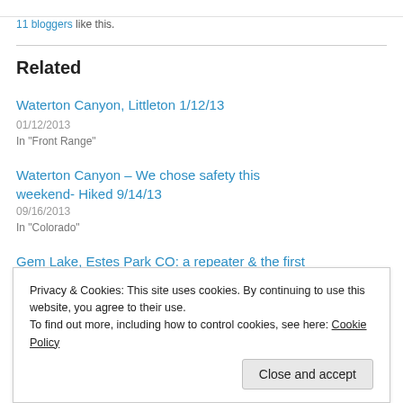11 bloggers like this.
Related
Waterton Canyon, Littleton 1/12/13
01/12/2013
In "Front Range"
Waterton Canyon – We chose safety this weekend- Hiked 9/14/13
09/16/2013
In "Colorado"
Gem Lake, Estes Park CO: a repeater & the first Girlfriend hike –
Privacy & Cookies: This site uses cookies. By continuing to use this website, you agree to their use.
To find out more, including how to control cookies, see here: Cookie Policy